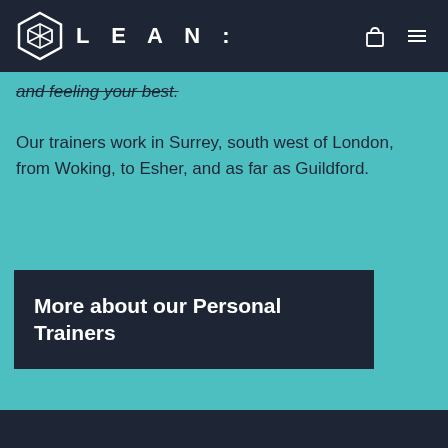LEAN:
and feeling your best.
Our trainers work in Surrey, south west of London, from Woking, to Esher, and as far as Guildford.
More about our Personal Trainers